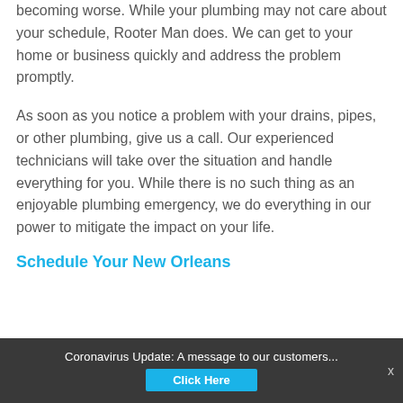becoming worse. While your plumbing may not care about your schedule, Rooter Man does. We can get to your home or business quickly and address the problem promptly.
As soon as you notice a problem with your drains, pipes, or other plumbing, give us a call. Our experienced technicians will take over the situation and handle everything for you. While there is no such thing as an enjoyable plumbing emergency, we do everything in our power to mitigate the impact on your life.
Schedule Your New Orleans
Coronavirus Update: A message to our customers...
Click Here